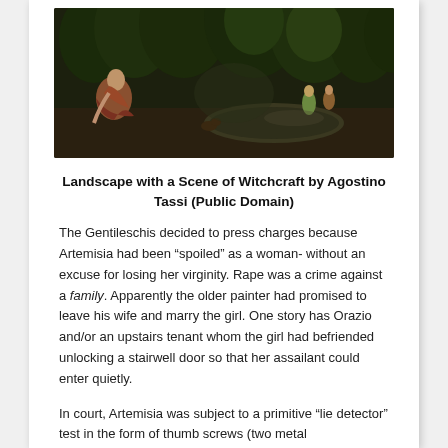[Figure (photo): A dark landscape painting depicting figures in a forest setting near water. Left side shows a seated draped figure, right side shows smaller figures near a body of water. Dense dark trees fill the background.]
Landscape with a Scene of Witchcraft by Agostino Tassi (Public Domain)
The Gentileschis decided to press charges because Artemisia had been “spoiled” as a woman- without an excuse for losing her virginity. Rape was a crime against a family. Apparently the older painter had promised to leave his wife and marry the girl. One story has Orazio and/or an upstairs tenant whom the girl had befriended unlocking a stairwell door so that her assailant could enter quietly.
In court, Artemisia was subject to a primitive “lie detector” test in the form of thumb screws (two metal